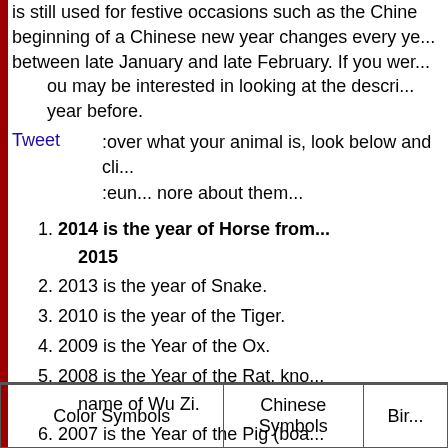is still used for festive occasions such as the Chinese new year. The beginning of a Chinese new year changes every year and falls between late January and late February. If you were born in... you may be interested in looking at the description of the year before.
Tweet   ...cover what your animal is, look below and click on it to learn more about them...
2014 is the year of Horse from ... 2015
2013 is the year of Snake.
2010 is the year of the Tiger.
2009 is the Year of the Ox.
2008 is the Year of the Rat, known by the former name of Wu Zi.
2007 is the Year of the Pig (boar)... former name of Ding Hai.
2006 was the Year of the Dog.
| Color Symbols | Chinese Symbols | Bir... |
| --- | --- | --- |